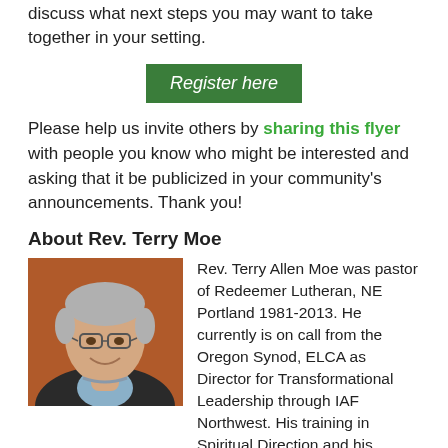discuss what next steps you may want to take together in your setting.
Register here
Please help us invite others by sharing this flyer with people you know who might be interested and asking that it be publicized in your community's announcements. Thank you!
About Rev. Terry Moe
[Figure (photo): Portrait photo of Rev. Terry Moe, a middle-aged man with gray hair and glasses, smiling, wearing a dark jacket.]
Rev. Terry Allen Moe was pastor of Redeemer Lutheran, NE Portland 1981-2013. He currently is on call from the Oregon Synod, ELCA as Director for Transformational Leadership through IAF Northwest. His training in Spiritual Direction and his passion for community organizing based in Industrial Areas Foundation has led to
thirty years of pursuing connections between prayer and